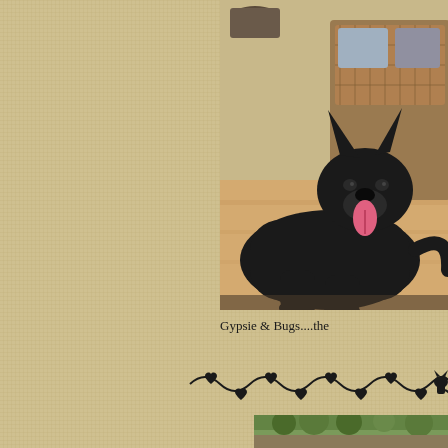[Figure (photo): Black German Shepherd dog lying on a wooden floor with tongue out, next to wicker furniture. The dog is fully black with alert ears.]
Gypsie & Bugs....the
[Figure (illustration): Decorative divider with hearts and swirling vine motifs in black]
[Figure (photo): Partial view of a green outdoor scene, bottom of page]